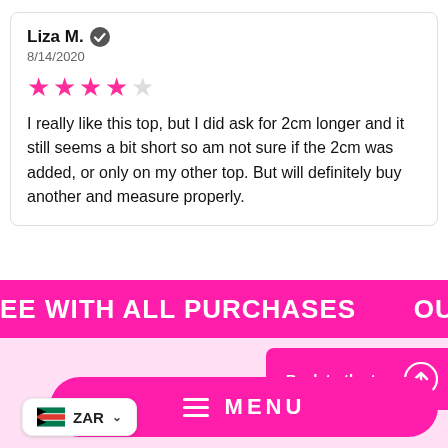Liza M. ✔
8/14/2020
★★★★☆ (4 out of 5 stars)
I really like this top,  but I did ask for 2cm longer and it still seems a bit short so am not sure if the 2cm was added, or only on my other top. But will definitely buy another and measure properly.
EE WITH ALL PURCHASES    OUR FUNKY
Back to the top ↑
≡ MENU
ZAR ∨